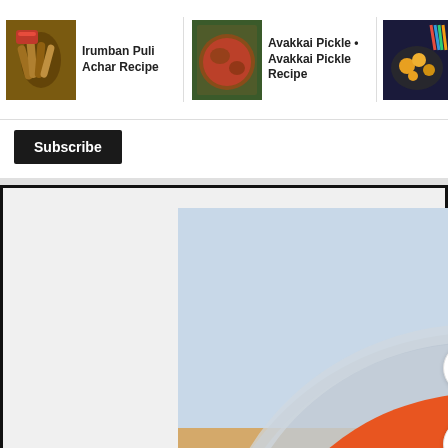[Figure (screenshot): Website navigation bar showing recipe thumbnails: Irumban Puli Achar Recipe, Avakkai Pickle - Avakkai Pickle Recipe, Jambakka Achar Recipe Rose Apple]
Irumban Puli Achar Recipe
Avakkai Pickle • Avakkai Pickle Recipe
Jambakka Achar Recipe Rose Apple
Subscribe
[Figure (photo): A round plastic container filled with orange-red curry or pickle dish with chunks of meat or vegetables in thick sauce, photographed from above on a wooden surface.]
141
X
Shop at Your Nearest Store
Bassett Furniture